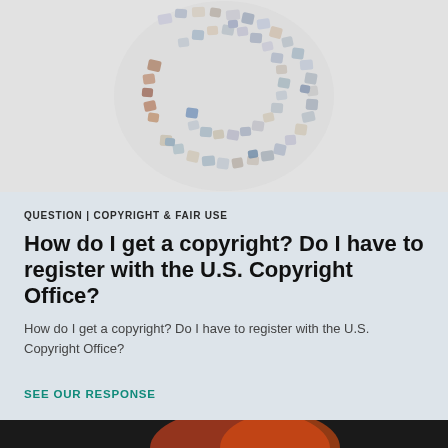[Figure (photo): A copyright symbol (©) formed by puzzle pieces arranged in a spiral pattern on a light gray background.]
QUESTION | COPYRIGHT & FAIR USE
How do I get a copyright? Do I have to register with the U.S. Copyright Office?
How do I get a copyright? Do I have to register with the U.S. Copyright Office?
SEE OUR RESPONSE
[Figure (photo): Bottom strip showing partial image with dark background and orange/red tones.]